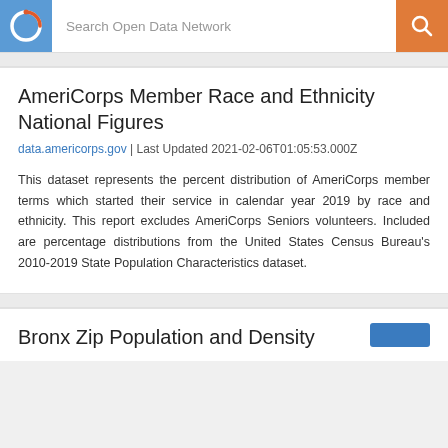Search Open Data Network
AmeriCorps Member Race and Ethnicity National Figures
data.americorps.gov | Last Updated 2021-02-06T01:05:53.000Z
This dataset represents the percent distribution of AmeriCorps member terms which started their service in calendar year 2019 by race and ethnicity. This report excludes AmeriCorps Seniors volunteers. Included are percentage distributions from the United States Census Bureau's 2010-2019 State Population Characteristics dataset.
Bronx Zip Population and Density